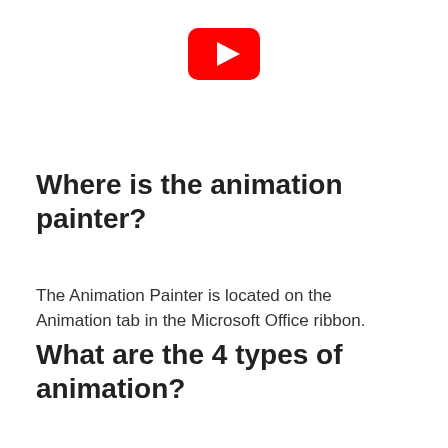[Figure (logo): YouTube logo — red rounded rectangle with white play triangle]
Where is the animation painter?
The Animation Painter is located on the Animation tab in the Microsoft Office ribbon.
What are the 4 types of animation?
There are four main types of animation: